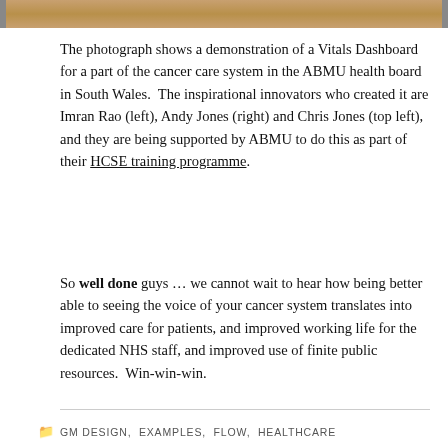[Figure (photo): Partial view of a photograph showing people demonstrating a Vitals Dashboard in the ABMU health board cancer care system in South Wales.]
The photograph shows a demonstration of a Vitals Dashboard for a part of the cancer care system in the ABMU health board in South Wales.  The inspirational innovators who created it are Imran Rao (left), Andy Jones (right) and Chris Jones (top left), and they are being supported by ABMU to do this as part of their HCSE training programme.
So well done guys … we cannot wait to hear how being better able to seeing the voice of your cancer system translates into improved care for patients, and improved working life for the dedicated NHS staff, and improved use of finite public resources.  Win-win-win.
GM DESIGN, EXAMPLES, FLOW, HEALTHCARE